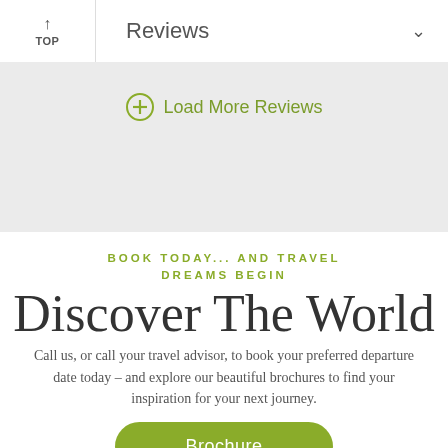↑ TOP | Reviews ∨
⊕ Load More Reviews
BOOK TODAY... AND TRAVEL DREAMS BEGIN
Discover The World
Call us, or call your travel advisor, to book your preferred departure date today – and explore our beautiful brochures to find your inspiration for your next journey.
Brochure